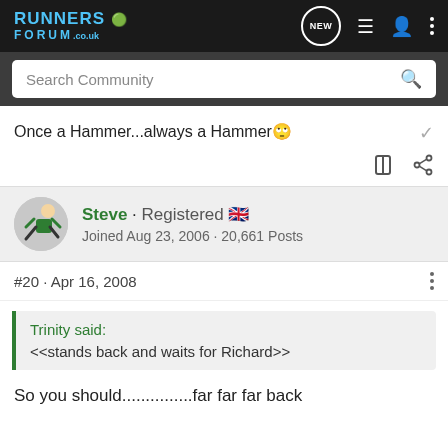Runners Forum .co.uk — navigation bar with NEW, list, user, and menu icons
Search Community
Once a Hammer...always a Hammer 🙄
Steve · Registered 🇬🇧
Joined Aug 23, 2006 · 20,661 Posts
#20 · Apr 16, 2008
Trinity said:
<<stands back and waits for Richard>>
So you should...............far far far back